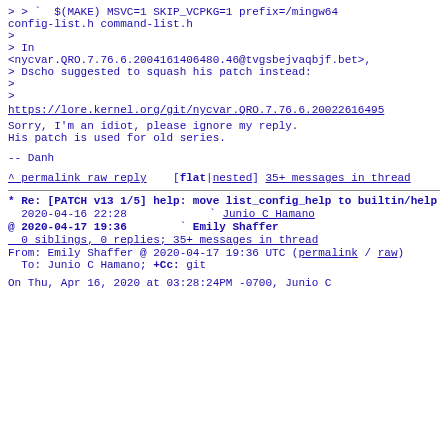> > `  $(MAKE) MSVC=1 SKIP_VCPKG=1 prefix=/mingw64
config-list.h command-list.h
>
> In
<nycvar.QRO.7.76.6.2004161406480.46@tvgsbejvaqbjf.bet>,
> Dscho suggested to squash his patch instead:
>
>
https://lore.kernel.org/git/nycvar.QRO.7.76.6.20022616495...
Sorry, I'm an idiot, please ignore my reply.
His patch is used for old series.
--
Danh
^ permalink raw reply    [flat|nested] 35+ messages in thread
* Re: [PATCH v13 1/5] help: move list_config_help to builtin/help
  2020-04-16 22:28       ` Junio C Hamano
@ 2020-04-17 19:36       ` Emily Shaffer
  0 siblings, 0 replies; 35+ messages in thread
From: Emily Shaffer @ 2020-04-17 19:36 UTC (permalink / raw)
  To: Junio C Hamano; +Cc: git
On Thu, Apr 16, 2020 at 03:28:24PM -0700, Junio C